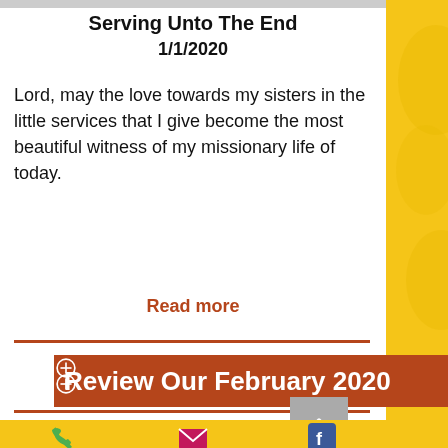Serving Unto The End
1/1/2020
Lord, may the love towards my sisters in the little services that I give become the most beautiful witness of my missionary life of today.
Read more
Review Our February 2020
[Figure (screenshot): Mobile website screenshot showing a religious article titled 'Serving Unto The End' dated 1/1/2020 with a quote and 'Read more' link, followed by a brown banner 'Review Our February 2020', with yellow sidebar decoration and footer icons for phone, email, and Facebook.]